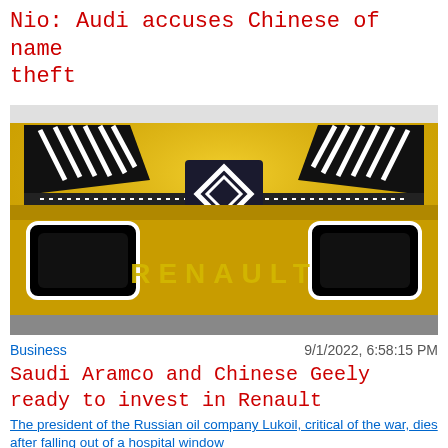Nio: Audi accuses Chinese of name theft
[Figure (photo): Front view of a yellow Renault concept car showing the Renault diamond logo on the grille and 'RENAULT' lettering on the lower bumper area, with distinctive black headlights with slash patterns.]
Business
9/1/2022, 6:58:15 PM
Saudi Aramco and Chinese Geely ready to invest in Renault
The president of the Russian oil company Lukoil, critical of the war, dies after falling out of a hospital window